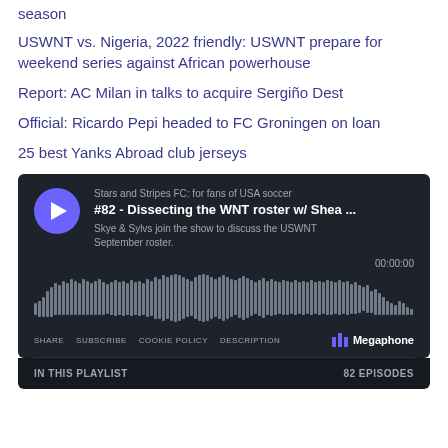season
USWNT vs. Nigeria, 2022 friendly: USWNT prepare for weekend series against African powerhouse
Report: AC Milan in talks to acquire Sergiño Dest
Official: Ricardo Pepi headed to FC Groningen on loan
25 best Yanks Abroad club jerseys
[Figure (other): Podcast player widget for 'Stars and Stripes FC: for fans of USA soccer', episode #82 - Dissecting the WNT roster w/ Shea ..., with waveform audio visualization, time 00:00:00, controls for SHARE, SUBSCRIBE, COOKIE POLICY, DESCRIPTION, Megaphone branding, and IN THIS PLAYLIST with 82 EPISODES]